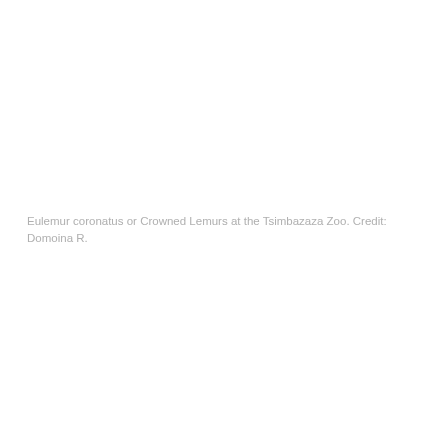Eulemur coronatus or Crowned Lemurs at the Tsimbazaza Zoo. Credit: Domoina R.